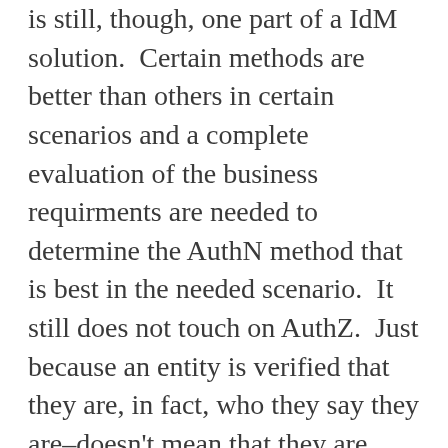is still, though, one part of a IdM solution.  Certain methods are better than others in certain scenarios and a complete evaluation of the business requirments are needed to determine the AuthN method that is best in the needed scenario.  It still does not touch on AuthZ.  Just because an entity is verified that they are, in fact, who they say they are–doesn't mean that they are *authorized* to perform the action they are requesting.  In SharePoint, access to Web sites, lists, folders, and list items is controlled through two methods: either role-based membership where users are assigned to roles that authorize their access to objects or